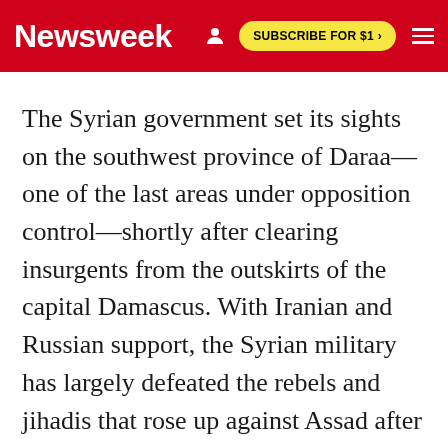Newsweek | SUBSCRIBE FOR $1 >
The Syrian government set its sights on the southwest province of Daraa—one of the last areas under opposition control—shortly after clearing insurgents from the outskirts of the capital Damascus. With Iranian and Russian support, the Syrian military has largely defeated the rebels and jihadis that rose up against Assad after a 2011 uprising sponsored by the West, Turkey and Gulf Arab states such as Qatar and Saudi Arabia.